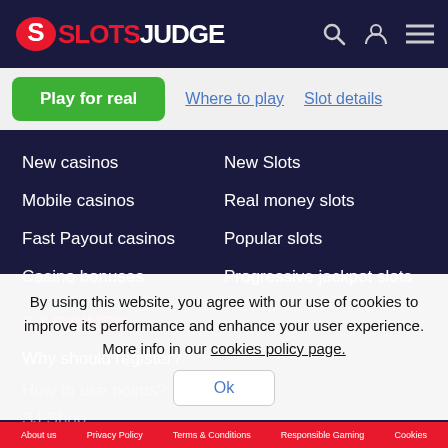SLOTS JUDGE
Play for real
Where to play
Slot details
New casinos
New Slots
Mobile casinos
Real money slots
Fast Payout casinos
Popular slots
Casino bonuses
Progressive jackpot slots
SJ POINTS
Why should register?
How to use points?
SJ Shop
Winnings
By using this website, you agree with our use of cookies to improve its performance and enhance your user experience. More info in our cookies policy page.
About us   Privacy Policy   Terms & Conditions   Responsible Gaming   Cookies